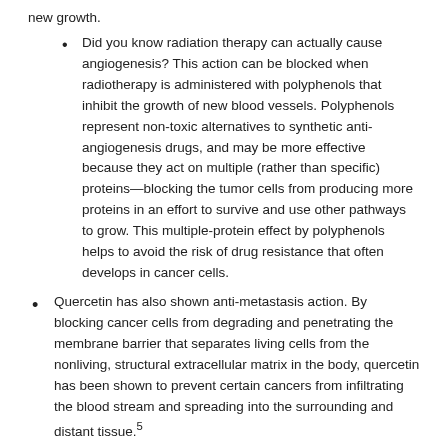new growth.
Did you know radiation therapy can actually cause angiogenesis? This action can be blocked when radiotherapy is administered with polyphenols that inhibit the growth of new blood vessels. Polyphenols represent non-toxic alternatives to synthetic anti-angiogenesis drugs, and may be more effective because they act on multiple (rather than specific) proteins—blocking the tumor cells from producing more proteins in an effort to survive and use other pathways to grow. This multiple-protein effect by polyphenols helps to avoid the risk of drug resistance that often develops in cancer cells.
Quercetin has also shown anti-metastasis action. By blocking cancer cells from degrading and penetrating the membrane barrier that separates living cells from the nonliving, structural extracellular matrix in the body, quercetin has been shown to prevent certain cancers from infiltrating the blood stream and spreading into the surrounding and distant tissue.5
References